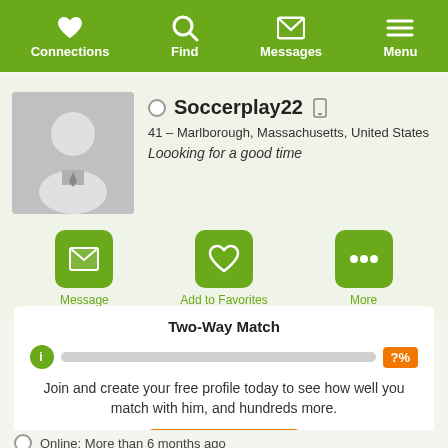Connections  Find  Messages  Menu
Soccerplay22
41 – Marlborough, Massachusetts, United States
Loooking for a good time
Message  Add to Favorites  More
Two-Way Match
Join and create your free profile today to see how well you match with him, and hundreds more.
Join now
Online: More than 6 months ago